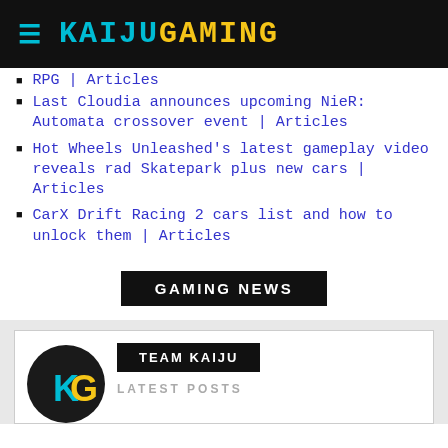KAIJUGAMING
RPG | Articles
Last Cloudia announces upcoming NieR: Automata crossover event | Articles
Hot Wheels Unleashed's latest gameplay video reveals rad Skatepark plus new cars | Articles
CarX Drift Racing 2 cars list and how to unlock them | Articles
GAMING NEWS
TEAM KAIJU
LATEST POSTS